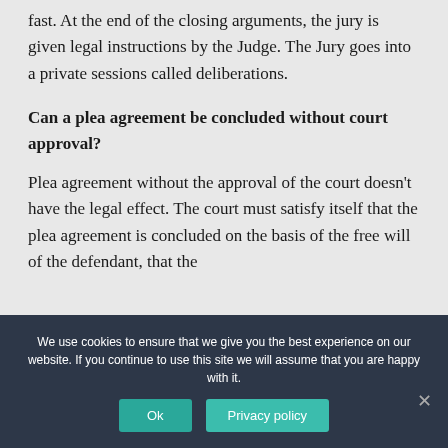fast. At the end of the closing arguments, the jury is given legal instructions by the Judge. The Jury goes into a private sessions called deliberations.
Can a plea agreement be concluded without court approval?
Plea agreement without the approval of the court doesn't have the legal effect. The court must satisfy itself that the plea agreement is concluded on the basis of the free will of the defendant, that the
We use cookies to ensure that we give you the best experience on our website. If you continue to use this site we will assume that you are happy with it.